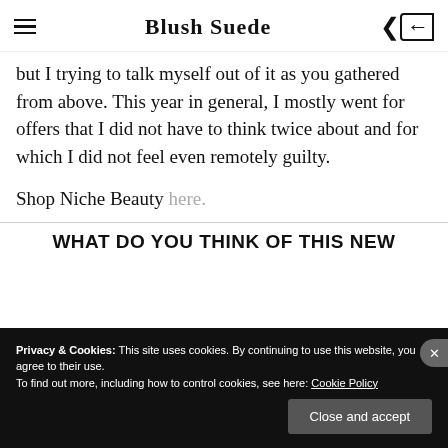Blush Suede
but I trying to talk myself out of it as you gathered from above. This year in general, I mostly went for offers that I did not have to think twice about and for which I did not feel even remotely guilty.
Shop Niche Beauty here.
WHAT DO YOU THINK OF THIS NEW
Privacy & Cookies: This site uses cookies. By continuing to use this website, you agree to their use.
To find out more, including how to control cookies, see here: Cookie Policy